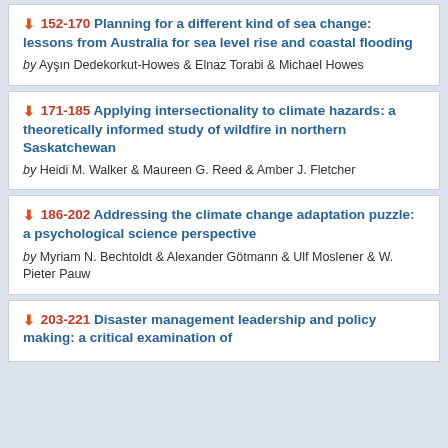152-170 Planning for a different kind of sea change: lessons from Australia for sea level rise and coastal flooding by Ayşın Dedekorkut-Howes & Elnaz Torabi & Michael Howes
171-185 Applying intersectionality to climate hazards: a theoretically informed study of wildfire in northern Saskatchewan by Heidi M. Walker & Maureen G. Reed & Amber J. Fletcher
186-202 Addressing the climate change adaptation puzzle: a psychological science perspective by Myriam N. Bechtoldt & Alexander Götmann & Ulf Moslener & W. Pieter Pauw
203-221 Disaster management leadership and policy making: a critical examination of...